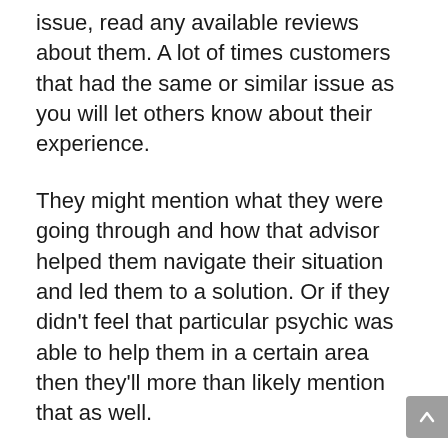issue, read any available reviews about them. A lot of times customers that had the same or similar issue as you will let others know about their experience.
They might mention what they were going through and how that advisor helped them navigate their situation and led them to a solution. Or if they didn't feel that particular psychic was able to help them in a certain area then they'll more than likely mention that as well.
Real reviews left by real customers like you and I are one of the best resources when it comes to picking the right advisor for you. You might feel like your situation is unique only to you but you'd be surprised how many other people go through the same types